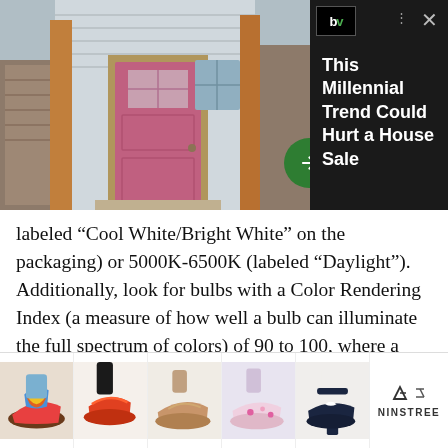[Figure (screenshot): Advertisement overlay showing a house with a pink front door on the left side, and on the right side a dark background with 'bv' logo, close button, and text 'This Millennial Trend Could Hurt a House Sale' with a green arrow button]
labeled “Cool White/Bright White” on the packaging) or 5000K-6500K (labeled “Daylight”). Additionally, look for bulbs with a Color Rendering Index (a measure of how well a bulb can illuminate the full spectrum of colors) of 90 to 100, where a value of 100 is the CRI of daylight at midday.
[Figure (screenshot): Bottom advertisement banner showing five pairs of women's shoes/sandals with colorful styles, and 'NINSTREE' brand logo on the right]